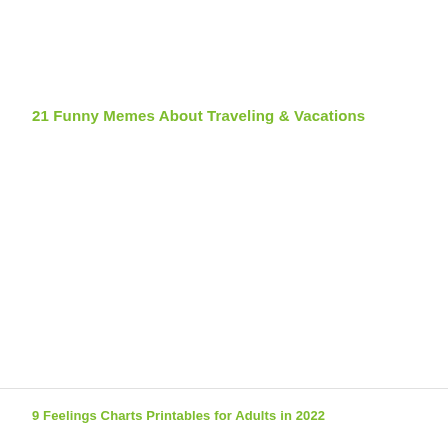21 Funny Memes About Traveling  &  Vacations
9 Feelings Charts Printables for Adults in 2022